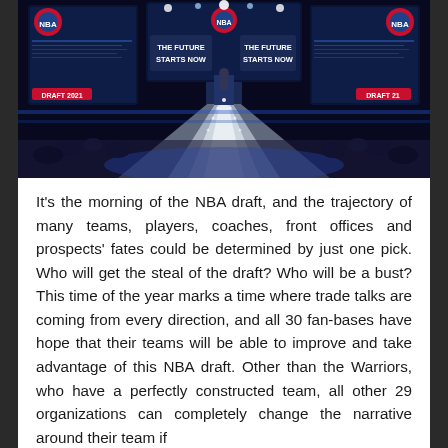[Figure (photo): NBA Draft 2021 arena stage photo. Large NBA logos on either side, screens reading 'THE FUTURE STARTS NOW', commissioner at podium, blue lighting, runway-style stage extending toward audience.]
It's the morning of the NBA draft, and the trajectory of many teams, players, coaches, front offices and prospects' fates could be determined by just one pick. Who will get the steal of the draft? Who will be a bust? This time of the year marks a time where trade talks are coming from every direction, and all 30 fan-bases have hope that their teams will be able to improve and take advantage of this NBA draft. Other than the Warriors, who have a perfectly constructed team, all other 29 organizations can completely change the narrative around their team if